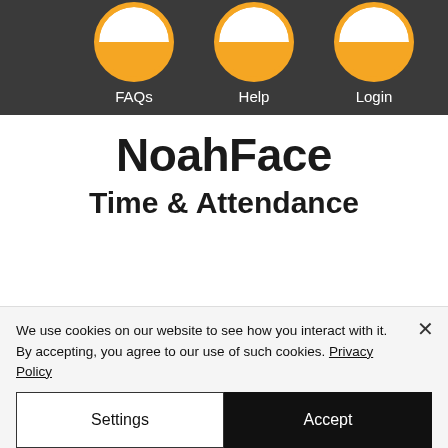[Figure (screenshot): Navigation bar with dark background showing three circular icons (partially visible at top) for FAQs, Help, and Login]
NoahFace
Time & Attendance
We use cookies on our website to see how you interact with it. By accepting, you agree to our use of such cookies. Privacy Policy
Settings
Accept